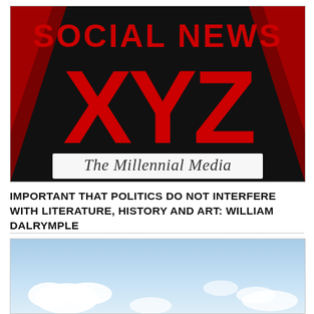[Figure (logo): Social News XYZ logo — bold red 'SOCIAL NEWS' text above large red 'XYZ' letters on dark background, with tagline 'The Millennial Media' in script below]
IMPORTANT THAT POLITICS DO NOT INTERFERE WITH LITERATURE, HISTORY AND ART: WILLIAM DALRYMPLE
[Figure (photo): Blue sky with white clouds photo]